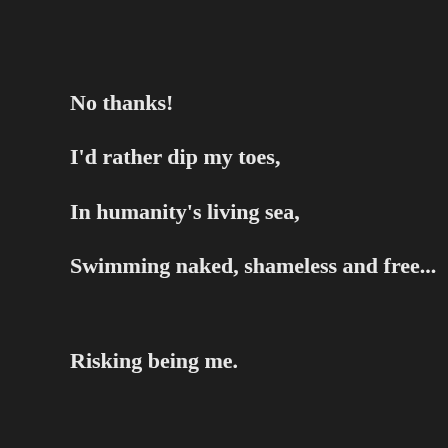No thanks!
I'd rather dip my toes,
In humanity's living sea,
Swimming naked, shameless and free...
Risking being me.